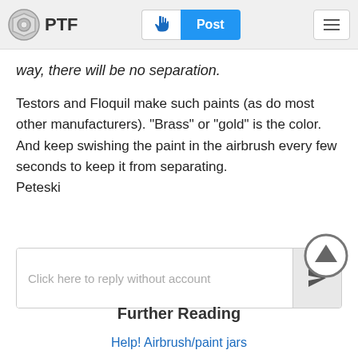PTF | Post
way, there will be no separation.
Testors and Floquil make such paints (as do most other manufacturers). "Brass" or "gold" is the color. And keep swishing the paint in the airbrush every few seconds to keep it from separating.
Peteski
Click here to reply without account
Further Reading
Help! Airbrush/paint jars